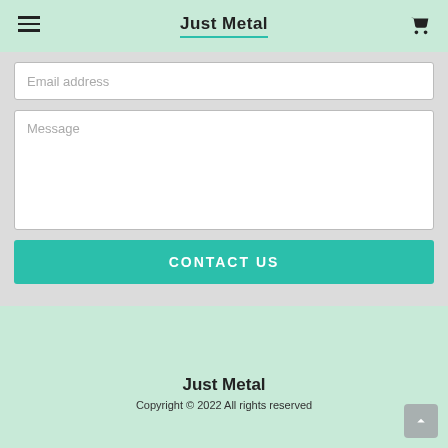Just Metal
Email address
Message
CONTACT US
Just Metal
Copyright © 2022 All rights reserved